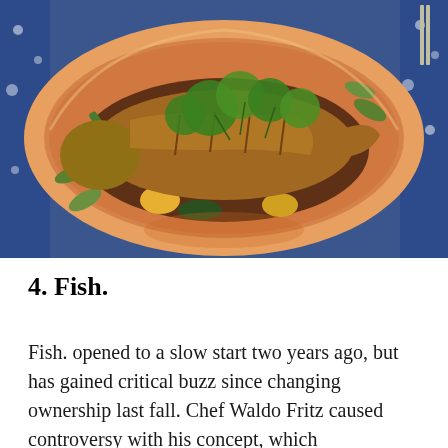[Figure (photo): A whole cooked fish served on a decorative orange/terracotta plate with a dark sauce, garnished with fresh green cilantro/parsley, vegetables including zucchini/asparagus slices, red chili, and pieces of squash/yellow vegetable. The plate has leaf and fish designs on its rim. Background shows a blue patterned tablecloth and a fork.]
4. Fish.
Fish. opened to a slow start two years ago, but has gained critical buzz since changing ownership last fall. Chef Waldo Fritz caused controversy with his concept, which